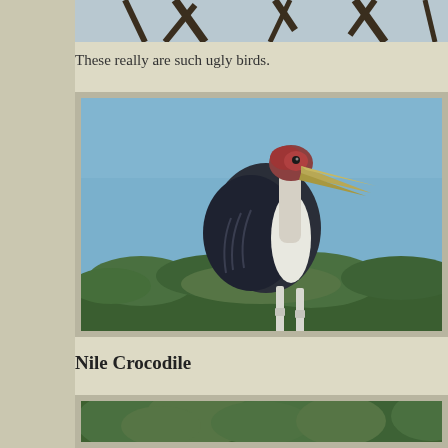[Figure (photo): Top portion of a photo showing tree branches against sky, partially cropped]
These really are such ugly birds.
[Figure (photo): A Marabou stork standing on top of trees against a blue sky, showing its distinctive bald red head, long beak, black wings, and white legs]
Nile Crocodile
[Figure (photo): Bottom portion of a photo showing dense green vegetation, partially cropped]